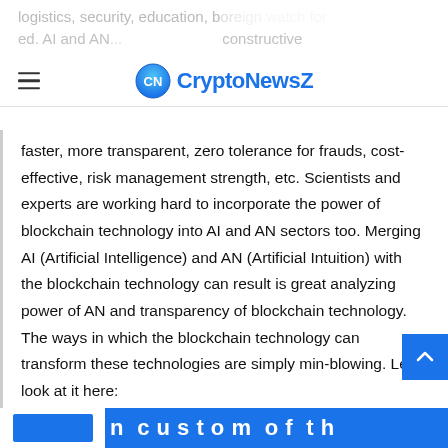logistics, security, education, b... reign watch for... ed. AI and AN... constructive disruption, as the blockchain technology offers safer
[Figure (logo): CryptoNewsZ logo with circular CN icon and blue text]
faster, more transparent, zero tolerance for frauds, cost-effective, risk management strength, etc. Scientists and experts are working hard to incorporate the power of blockchain technology into AI and AN sectors too. Merging AI (Artificial Intelligence) and AN (Artificial Intuition) with the blockchain technology can result is great analyzing power of AN and transparency of blockchain technology. The ways in which the blockchain technology can transform these technologies are simply min-blowing. Let’s look at it here: